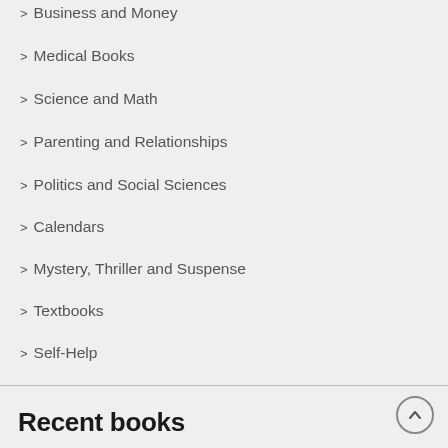> Business and Money
> Medical Books
> Science and Math
> Parenting and Relationships
> Politics and Social Sciences
> Calendars
> Mystery, Thriller and Suspense
> Textbooks
> Self-Help
> Arts and Photography
Recent books